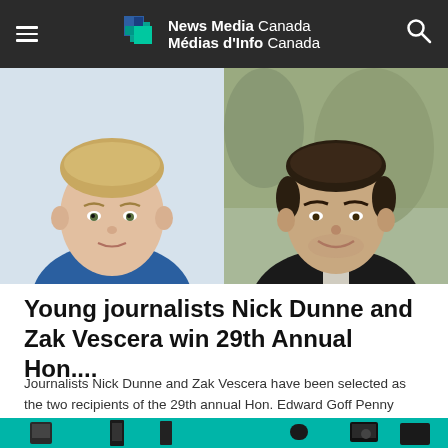News Media Canada / Médias d'Info Canada
[Figure (photo): Two portrait photos side by side: left photo shows a young man with light hair wearing a blue shirt; right photo shows a young man with dark hair wearing a black leather jacket outdoors.]
Young journalists Nick Dunne and Zak Vescera win 29th Annual Hon....
Journalists Nick Dunne and Zak Vescera have been selected as the two recipients of the 29th annual Hon. Edward Goff Penny Memorial Prizes for Young...
[Figure (photo): Bottom partial image showing various electronic/media devices on a teal/turquoise background.]